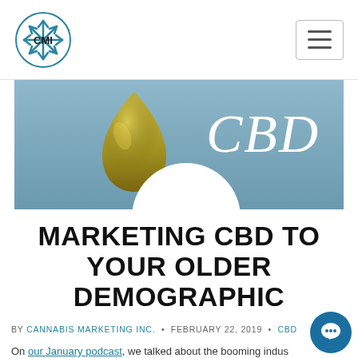Cannabis Marketing Inc. — navigation bar with logo and hamburger menu
[Figure (photo): Banner image with a drop of golden CBD oil on a blue-grey background with the cursive text 'CBD' in white]
MARKETING CBD TO YOUR OLDER DEMOGRAPHIC
BY CANNABIS MARKETING INC.  •  FEBRUARY 22, 2019  •  CBD
On our January podcast, we talked about the booming indus…